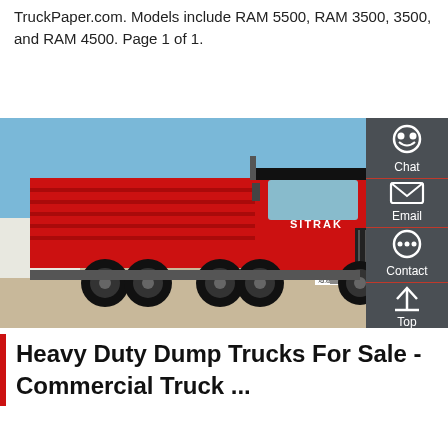TruckPaper.com. Models include RAM 5500, RAM 3500, 3500, and RAM 4500. Page 1 of 1.
Get a Quote
[Figure (photo): Red SITRAK heavy duty dump truck parked in a yard with a blue sky background and warehouse building visible.]
Heavy Duty Dump Trucks For Sale - Commercial Truck ...